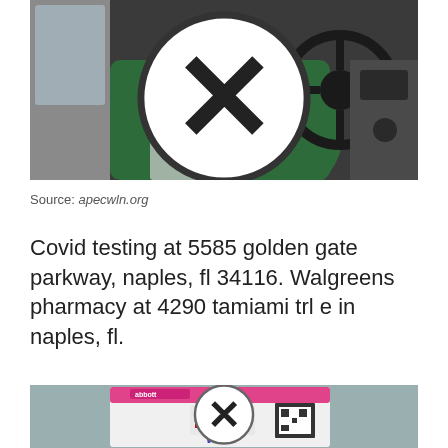[Figure (photo): Person in green sweatshirt sitting in car, hands on steering wheel, holding a Covid test kit]
Source: apecwln.org
Covid testing at 5585 golden gate parkway, naples, fl 34116. Walgreens pharmacy at 4290 tamiami trl e in naples, fl.
[Figure (photo): Close-up of a rapid Covid antigen test card with pink header, QR code, and handwritten 'VS' markings]